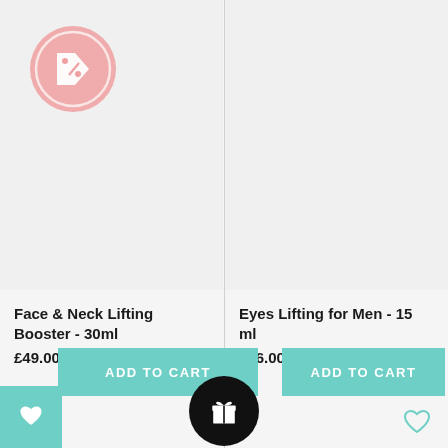[Figure (screenshot): E-commerce product listing page showing two skincare products side by side with sale badge, product names, prices, and add to cart buttons]
Face & Neck Lifting Booster - 30ml
£49.00
Eyes Lifting for Men - 15 ml
£26.00